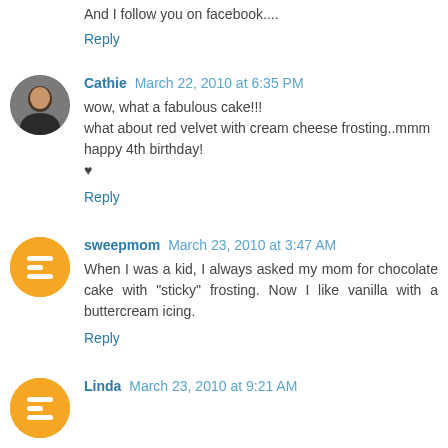And I follow you on facebook....
Reply
Cathie  March 22, 2010 at 6:35 PM
wow, what a fabulous cake!!!
what about red velvet with cream cheese frosting..mmm
happy 4th birthday!
♥
Reply
sweepmom  March 23, 2010 at 3:47 AM
When I was a kid, I always asked my mom for chocolate cake with "sticky" frosting. Now I like vanilla with a buttercream icing.
Reply
Linda  March 23, 2010 at 9:21 AM